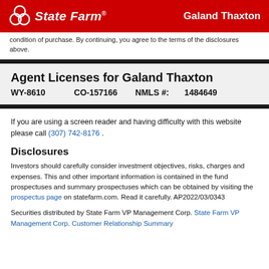State Farm — Galand Thaxton
condition of purchase. By continuing, you agree to the terms of the disclosures above.
Agent Licenses for Galand Thaxton
WY-8610   CO-157166   NMLS #:   1484649
If you are using a screen reader and having difficulty with this website please call (307) 742-8176 .
Disclosures
Investors should carefully consider investment objectives, risks, charges and expenses. This and other important information is contained in the fund prospectuses and summary prospectuses which can be obtained by visiting the prospectus page on statefarm.com. Read it carefully. AP2022/03/0343
Securities distributed by State Farm VP Management Corp. State Farm VP Management Corp. Customer Relationship Summary